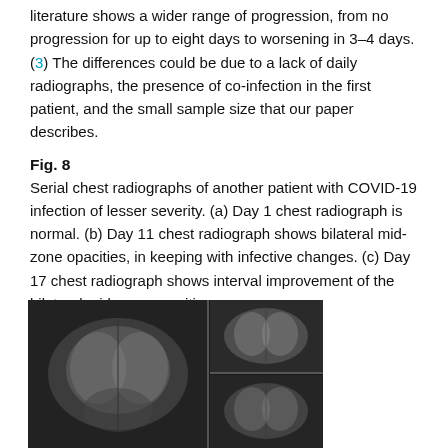literature shows a wider range of progression, from no progression for up to eight days to worsening in 3–4 days. (3) The differences could be due to a lack of daily radiographs, the presence of co-infection in the first patient, and the small sample size that our paper describes.
Fig. 8
Serial chest radiographs of another patient with COVID-19 infection of lesser severity. (a) Day 1 chest radiograph is normal. (b) Day 11 chest radiograph shows bilateral mid-zone opacities, in keeping with infective changes. (c) Day 17 chest radiograph shows interval improvement of the bilateral mid-zone opacities.
[Figure (photo): Serial chest radiographs showing three panels: a large left panel (Day 1, normal chest radiograph) and two stacked right panels (Day 11 showing bilateral mid-zone opacities, Day 17 showing interval improvement), all in grayscale.]